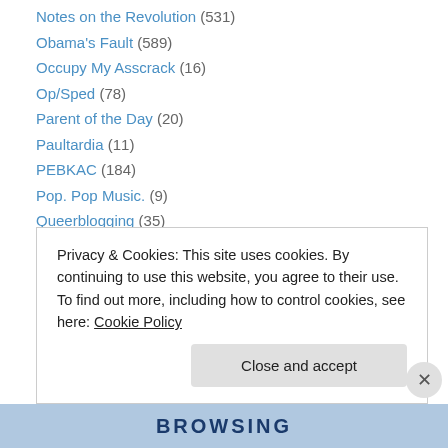Notes on the Revolution (531)
Obama's Fault (589)
Occupy My Asscrack (16)
Op/Sped (78)
Parent of the Day (20)
Paultardia (11)
PEBKAC (184)
Pop. Pop Music. (9)
Queerblogging (35)
Random Crap (336)
run with media (3)
Schadenboner! (5)
Shoeblogging (9)
Privacy & Cookies: This site uses cookies. By continuing to use this website, you agree to their use. To find out more, including how to control cookies, see here: Cookie Policy
Close and accept